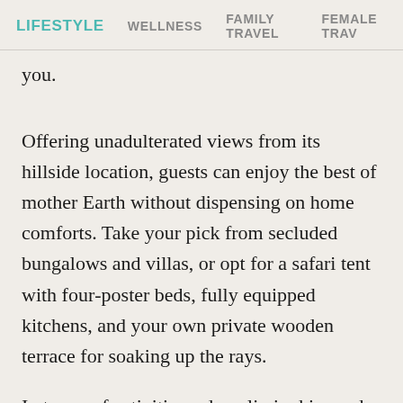LIFESTYLE   WELLNESS   FAMILY TRAVEL   FEMALE TRAV
you.
Offering unadulterated views from its hillside location, guests can enjoy the best of mother Earth without dispensing on home comforts. Take your pick from secluded bungalows and villas, or opt for a safari tent with four-poster beds, fully equipped kitchens, and your own private wooden terrace for soaking up the rays.
In terms of activities, adrenalin junkies and sedate individuals are well catered for alike: choose from mountain biking and scuba diving (they have rental cars and equipment for exploring the island's more remote spots), treat yourself to a massage or take a